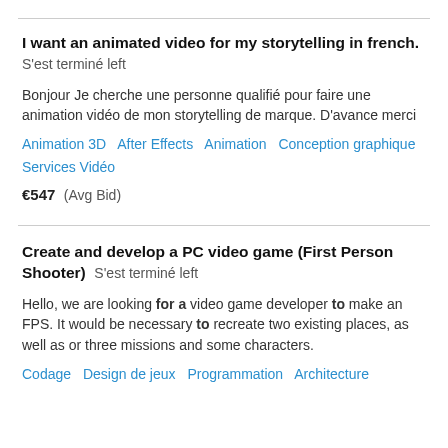I want an animated video for my storytelling in french. S&#039;est terminé left
Bonjour Je cherche une personne qualifié pour faire une animation vidéo de mon storytelling de marque. D'avance merci
Animation 3D   After Effects   Animation   Conception graphique   Services Vidéo
€547  (Avg Bid)
Create and develop a PC video game (First Person Shooter)  S&#039;est terminé left
Hello, we are looking for a video game developer to make an FPS. It would be necessary to recreate two existing places, as well as or three missions and some characters.
Codage   Design de jeux   Programmation   Architecture